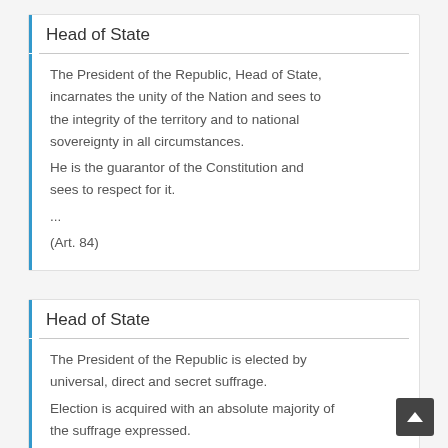Head of State
The President of the Republic, Head of State, incarnates the unity of the Nation and sees to the integrity of the territory and to national sovereignty in all circumstances.
He is the guarantor of the Constitution and sees to respect for it.
...
(Art. 84)
Head of State
The President of the Republic is elected by universal, direct and secret suffrage.
Election is acquired with an absolute majority of the suffrage expressed.